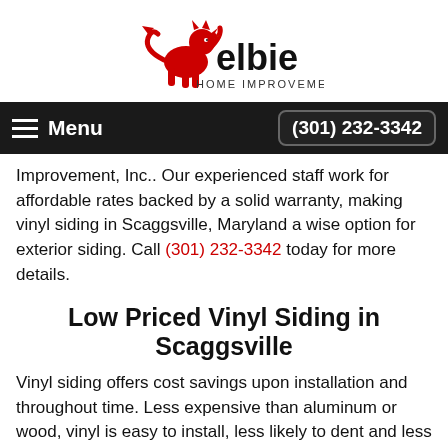[Figure (logo): Kelbie Home Improvement, Inc. logo with red lion rampant and stylized text]
Menu  (301) 232-3342
Improvement, Inc.. Our experienced staff work for affordable rates backed by a solid warranty, making vinyl siding in Scaggsville, Maryland a wise option for exterior siding. Call (301) 232-3342 today for more details.
Low Priced Vinyl Siding in Scaggsville
Vinyl siding offers cost savings upon installation and throughout time. Less expensive than aluminum or wood, vinyl is easy to install, less likely to dent and less pricey to maintain. Kelbie Home Improvement, Inc. is skilled in the